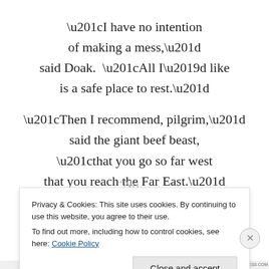“I have no intention of making a mess,” said Doak.  “All I’d like is a safe place to rest.”
“Then I recommend, pilgrim,” said the giant beef beast, “that you go so far west that you reach the Far East.”
“No…
Privacy & Cookies: This site uses cookies. By continuing to use this website, you agree to their use.
To find out more, including how to control cookies, see here: Cookie Policy